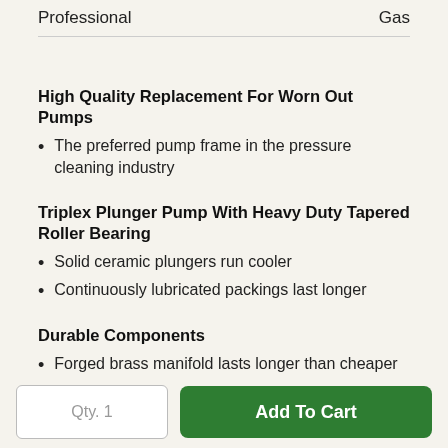| Professional | Gas |
High Quality Replacement For Worn Out Pumps
The preferred pump frame in the pressure cleaning industry
Triplex Plunger Pump With Heavy Duty Tapered Roller Bearing
Solid ceramic plungers run cooler
Continuously lubricated packings last longer
Durable Components
Forged brass manifold lasts longer than cheaper